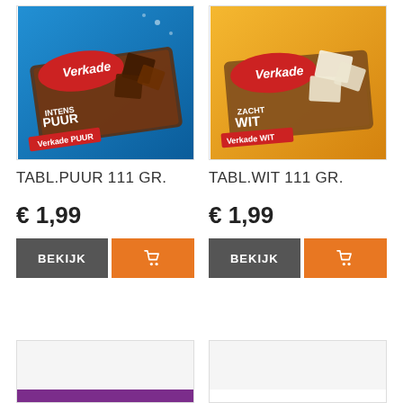[Figure (photo): Verkade Intens Puur chocolate tablet 111g on blue background]
[Figure (photo): Verkade Zacht Wit chocolate tablet 111g on orange/gold background]
TABL.PUUR 111 GR.
TABL.WIT 111 GR.
€ 1,99
€ 1,99
BEKIJK
BEKIJK
[Figure (photo): Partial product image bottom left, purple bar visible]
[Figure (photo): Partial product image bottom right]